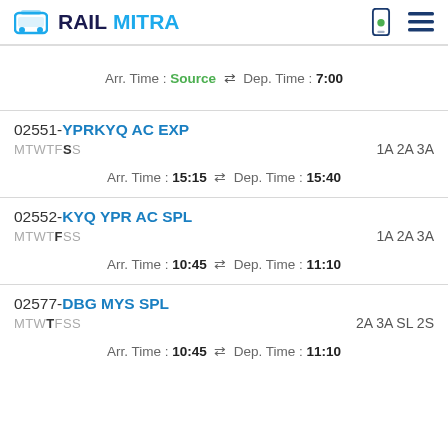RAILMITRA
Arr. Time :Source ⇌ Dep. Time :7:00
02551-YPRKYQ AC EXP MTWTFSS 1A 2A 3A Arr. Time :15:15 ⇌ Dep. Time :15:40
02552-KYQ YPR AC SPL MTWTFSS 1A 2A 3A Arr. Time :10:45 ⇌ Dep. Time :11:10
02577-DBG MYS SPL MTWTFSS 2A 3A SL 2S Arr. Time :10:45 ⇌ Dep. Time :11:10